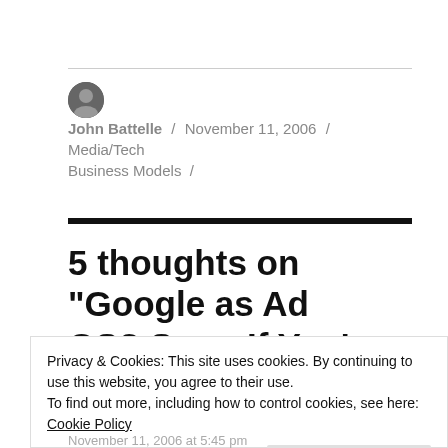John Battelle / November 11, 2006 / Media/Tech Business Models /
5 thoughts on “Google as Ad OS? Sure, If You’re A
Privacy & Cookies: This site uses cookies. By continuing to use this website, you agree to their use.
To find out more, including how to control cookies, see here: Cookie Policy
Close and accept
November 11, 2006 at 5:45 pm